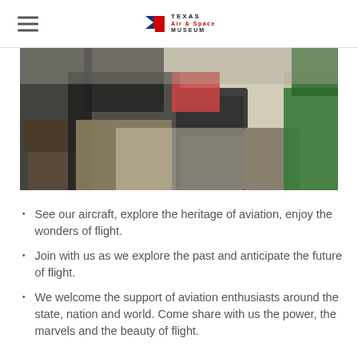Texas Air & Space Museum
[Figure (photo): Classroom or meeting room scene with several children/young people seated on folding chairs and office chairs around desks. One person wears a dark t-shirt, another wears a green shirt. The room has a light tile floor.]
See our aircraft, explore the heritage of aviation, enjoy the wonders of flight.
Join with us as we explore the past and anticipate the future of flight.
We welcome the support of aviation enthusiasts around the state, nation and world. Come share with us the power, the marvels and the beauty of flight.